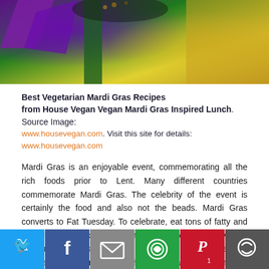[Figure (photo): Cropped photo showing Mardi Gras themed food with colorful purple, green, and yellow decorations/felt pieces and a bowl of food visible at top]
Best Vegetarian Mardi Gras Recipes from House Vegan Vegan Mardi Gras Inspired Lunch. Source Image: www.housevegan.com. Visit this site for details: www.housevegan.com
Mardi Gras is an enjoyable event, commemorating all the rich foods prior to Lent. Many different countries commemorate Mardi Gras. The celebrity of the event is certainly the food and also not the beads. Mardi Gras converts to Fat Tuesday. To celebrate, eat tons of fatty and abundant foods like these 20 traditional foods. We have the conventional British and also Irish recipe of pancakes, and the New Orleans traditions with filthy rice and also gumbo.
[Figure (other): Social media sharing bar with Twitter, Facebook, Email, WhatsApp, Pinterest (1), and More buttons]